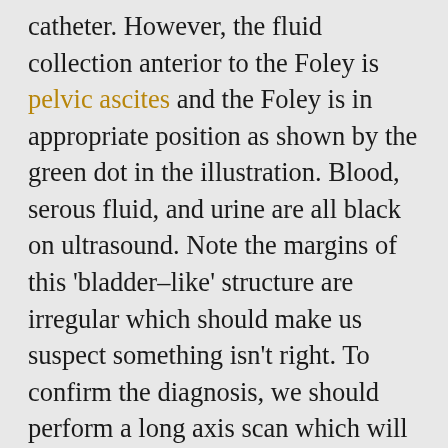catheter. However, the fluid collection anterior to the Foley is pelvic ascites and the Foley is in appropriate position as shown by the green dot in the illustration. Blood, serous fluid, and urine are all black on ultrasound. Note the margins of this 'bladder–like' structure are irregular which should make us suspect something isn't right. To confirm the diagnosis, we should perform a long axis scan which will show that this fluid collection is in continuity with the peritoneal cavity. Moreover, a patient's medical history should alert to the presence of pelvic ascites. It's interesting to note that the bedside bladder scanning devices that are available in most